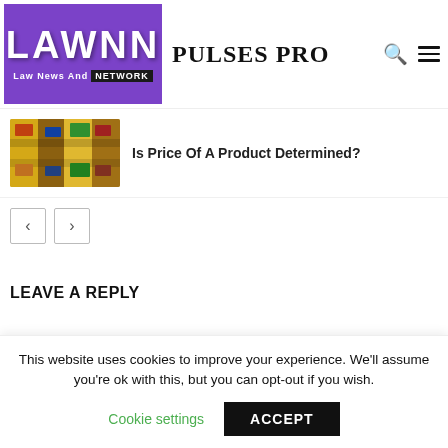[Figure (logo): LAWNN - Law News And NETWORK logo with purple background]
PULSES PRO
[Figure (photo): Thumbnail image of product shelving/canned goods]
Is Price Of A Product Determined?
LEAVE A REPLY
This website uses cookies to improve your experience. We'll assume you're ok with this, but you can opt-out if you wish.
Cookie settings   ACCEPT